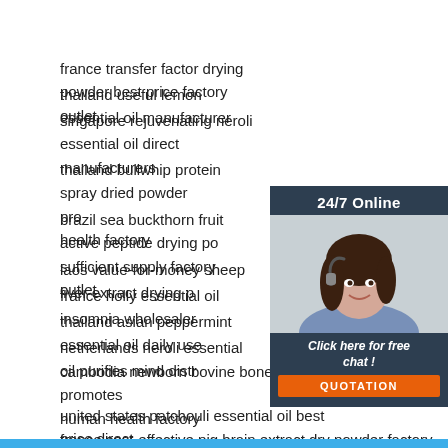france transfer factor drying powder best price factory outlet
thailand useful lemon essential oil manufacturer
singapore rejuvenating neroli essential oil direct manufacturers
thailand bullwhip protein spray dried powder promotes health factory
brazil sea buckthorn fruit active peptide drying powder sufficient supply factory outlet
laos value-for-money sheep liver extract drying powder
france holly essential oil insomnia wholesaler
thailand asian peppermint essential oil daily use
netherlands neroli essential oil purifies mind distributor
cambodia newborn bovine bone peptide dry powder promotes human health factory
united states patchouli essential oil best price direct manufacturers
france cost-effective pig brain extract dry powder factory outlet
[Figure (infographic): 24/7 Online chat widget with a woman wearing a headset, 'Click here for free chat!' text, and an orange QUOTATION button]
[Figure (logo): TOP logo with orange triangular dots above the word TOP in orange]